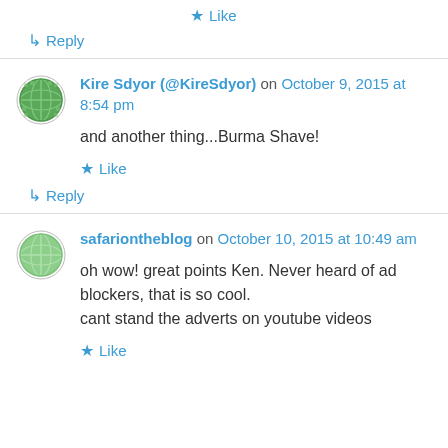Like
↳ Reply
Kire Sdyor (@KireSdyor) on October 9, 2015 at 8:54 pm
and another thing...Burma Shave!
Like
↳ Reply
safariontheblog on October 10, 2015 at 10:49 am
oh wow! great points Ken. Never heard of ad blockers, that is so cool.
cant stand the adverts on youtube videos
Like